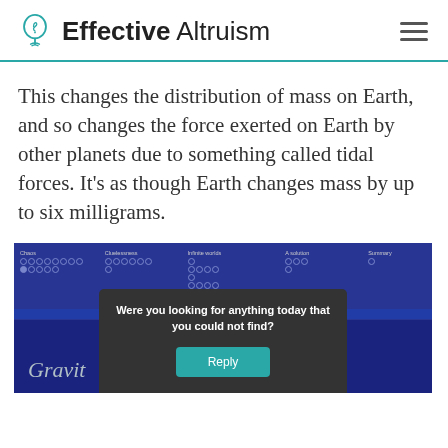Effective Altruism
This changes the distribution of mass on Earth, and so changes the force exerted on Earth by other planets due to something called tidal forces. It's as though Earth changes mass by up to six milligrams.
[Figure (screenshot): Screenshot of a navigation interface with sections labeled Chaos, Cluelessness, Infinite worlds, A solution, Summary with dot indicators, showing a 'Gravity' section and a popup overlay asking 'Were you looking for anything today that you could not find?' with a Reply button.]